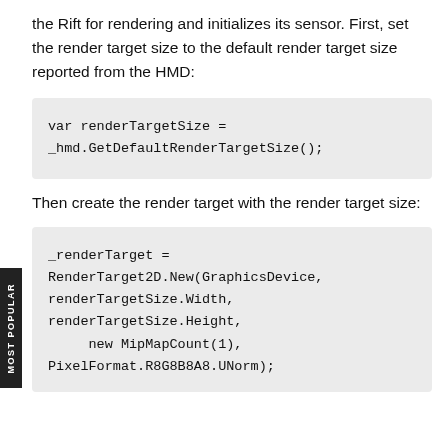the Rift for rendering and initializes its sensor. First, set the render target size to the default render target size reported from the HMD:
var renderTargetSize =
_hmd.GetDefaultRenderTargetSize();
Then create the render target with the render target size:
_renderTarget =
RenderTarget2D.New(GraphicsDevice,
renderTargetSize.Width,
renderTargetSize.Height,
    new MipMapCount(1),
PixelFormat.R8G8B8A8.UNorm);